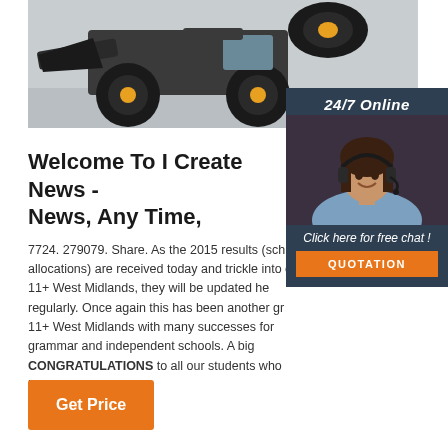[Figure (photo): Yellow and black construction loader/bulldozer front end on grey floor background]
[Figure (photo): 24/7 Online sidebar widget with photo of smiling woman wearing headset, dark blue background, Click here for free chat text, and orange QUOTATION button]
Welcome To I Create News - News, Any Time,
7724. 279079. Share. As the 2015 results (sch allocations) are received today and trickle into of 11+ West Midlands, they will be updated he regularly. Once again this has been another gr 11+ West Midlands with many successes for grammar and independent schools. A big CONGRATULATIONS to all our students who have ...
[Figure (other): Orange Get Price button]